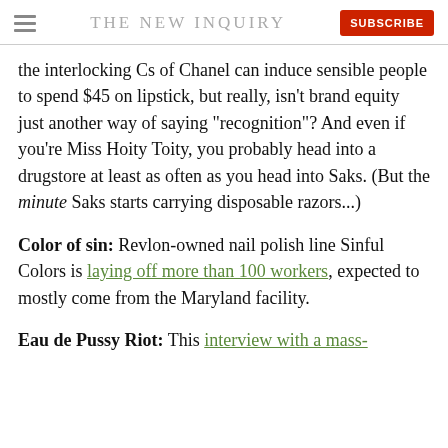THE NEW INQUIRY
the interlocking Cs of Chanel can induce sensible people to spend $45 on lipstick, but really, isn't brand equity just another way of saying "recognition"? And even if you're Miss Hoity Toity, you probably head into a drugstore at least as often as you head into Saks. (But the minute Saks starts carrying disposable razors...)
Color of sin: Revlon-owned nail polish line Sinful Colors is laying off more than 100 workers, expected to mostly come from the Maryland facility.
Eau de Pussy Riot: This interview with a mass-